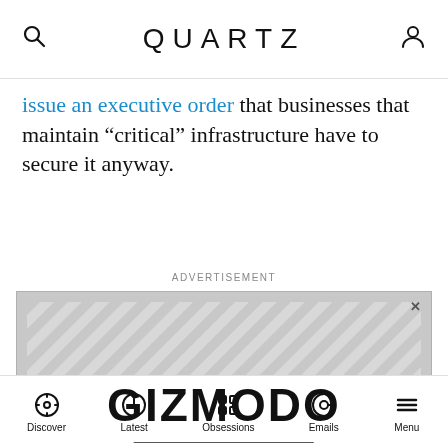QUARTZ
issue an executive order that businesses that maintain “critical” infrastructure have to secure it anyway.
ADVERTISEMENT
[Figure (other): Gizmodo advertisement banner with diagonal stripe background. Shows GIZMODO logo in large bold text, a horizontal divider, and text: CLICK HERE TO SUBSCRIBE TO OUR NEWSLETTER!]
Discover  Latest  Obsessions  Emails  Menu